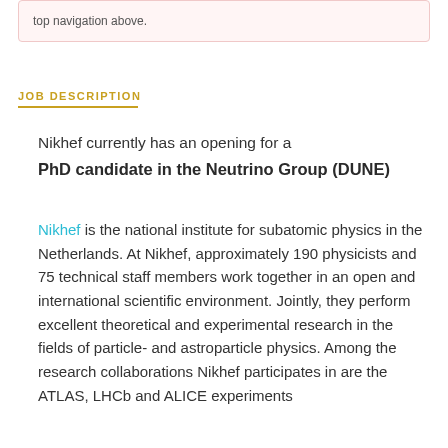top navigation above.
JOB DESCRIPTION
Nikhef currently has an opening for a
PhD candidate in the Neutrino Group (DUNE)
Nikhef is the national institute for subatomic physics in the Netherlands. At Nikhef, approximately 190 physicists and 75 technical staff members work together in an open and international scientific environment. Jointly, they perform excellent theoretical and experimental research in the fields of particle- and astroparticle physics. Among the research collaborations Nikhef participates in are the ATLAS, LHCb and ALICE experiments